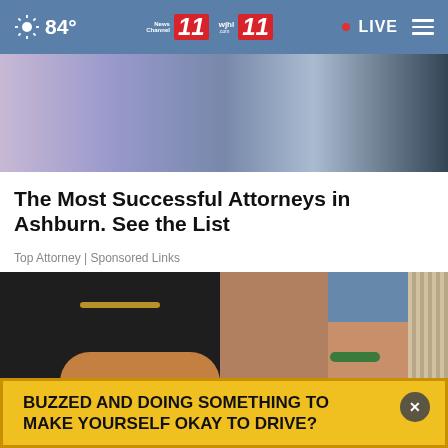84° | News Channel 11 | wjhl 11 | LIVE
[Figure (photo): Partial view of two people, one in a blue top and one in black, standing near a staircase.]
The Most Successful Attorneys in Ashburn. See the List
Top Attorney | Sponsored Links
[Figure (photo): Close-up photo of feet wearing black textured sandals/wedges with ankle jewelry, one with green beads, against a column background.]
BUZZED AND DOING SOMETHING TO MAKE YOURSELF OKAY TO DRIVE?